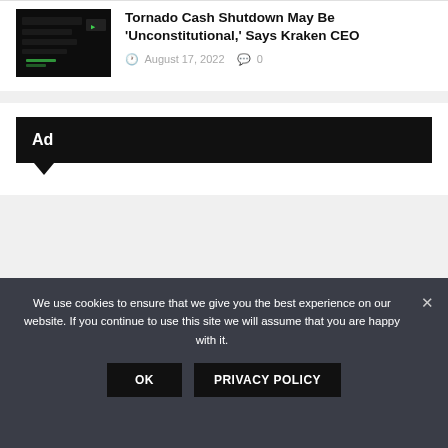[Figure (photo): Thumbnail image of a dark computer/trading screen with green elements]
Tornado Cash Shutdown May Be 'Unconstitutional,' Says Kraken CEO
August 17, 2022  0
Ad
We use cookies to ensure that we give you the best experience on our website. If you continue to use this site we will assume that you are happy with it.
OK  PRIVACY POLICY